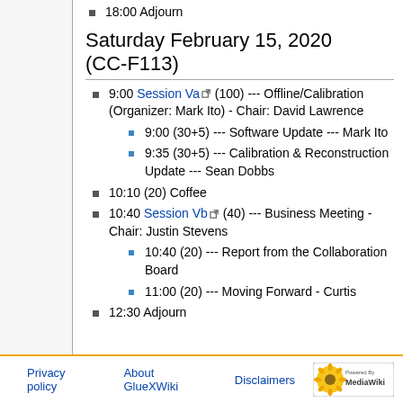18:00 Adjourn
Saturday February 15, 2020 (CC-F113)
9:00 Session Va (100) --- Offline/Calibration (Organizer: Mark Ito) - Chair: David Lawrence
9:00 (30+5) --- Software Update --- Mark Ito
9:35 (30+5) --- Calibration & Reconstruction Update --- Sean Dobbs
10:10 (20) Coffee
10:40 Session Vb (40) --- Business Meeting -Chair: Justin Stevens
10:40 (20) --- Report from the Collaboration Board
11:00 (20) --- Moving Forward - Curtis
12:30 Adjourn
Privacy policy   About GlueXWiki   Disclaimers   Powered by MediaWiki